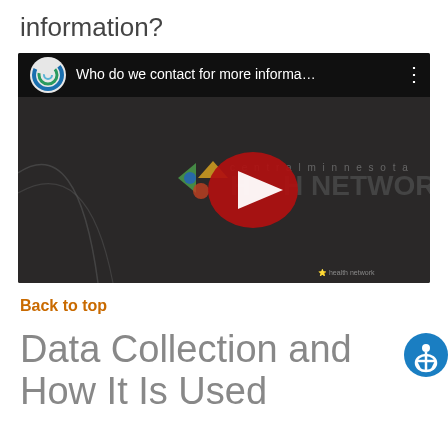information?
[Figure (screenshot): YouTube video embed showing 'Who do we contact for more informa...' with Central Minnesota Health Network logo and YouTube play button overlay]
Back to top
Data Collection and How It Is Used